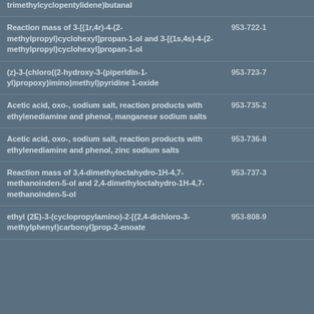| Name | EC Number |  |
| --- | --- | --- |
| trimethylcyclopentylidene)butanal |  | 2 |
| Reaction mass of 3-[(1r,4r)-4-(2-methylpropyl)cyclohexyl]propan-1-ol and 3-[(1s,4s)-4-(2-methylpropyl)cyclohexyl]propan-1-ol | 953-722-1 | – |
| (z)-3-(chloro((2-hydroxy-3-(piperidin-1-yl)propoxy)imino)methyl)pyridine 1-oxide | 953-723-7 | – |
| Acetic acid, oxo-, sodium salt, reaction products with ethylenediamine and phenol, manganese sodium salts | 953-735-2 | – |
| Acetic acid, oxo-, sodium salt, reaction products with ethylenediamine and phenol, zinc sodium salts | 953-736-8 | – |
| Reaction mass of 3,4-dimethyloctahydro-1H-4,7-methanoinden-5-ol and 2,4-dimethyloctahydro-1H-4,7-methanoinden-5-ol | 953-737-3 | – |
| ethyl (2E)-3-(cyclopropylamino)-2-[(2,4-dichloro-3-methylphenyl)carbonyl]prop-2-enoate | 953-808-9 | – |